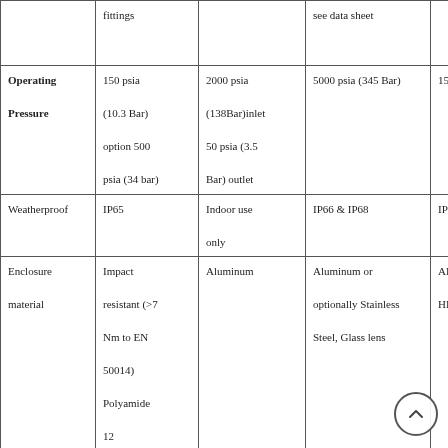|  | Col1 | Col2 | Col3 | Col4 |
| --- | --- | --- | --- | --- |
|  | fittings |  | see data sheet |  |
| Operating Pressure | 150 psia (10.3 Bar) option 500 psia (34 bar) | 2000 psia (138Bar)inlet 50 psia (3.5 Bar) outlet | 5000 psia (345 Bar) | 150 psia |
| Weatherproof | IP65 | Indoor use only | IP66 & IP68 | IP65 |
| Enclosure material | Impact resistant (>7 Nm to EN 50014) Polyamide 12 | Aluminum | Aluminum or optionally Stainless Steel, Glass lens | ABS (UL94-HB) |
| Dimensions | W: 4.17" (106mm) H: 1.97" | W: 6.38" (162mm) H: 3.32" | W: 5.8" (147mm) H: 5.58" (147mm) L: 8.9" (226mm) | W: 4.13" (105mm) H: 5.71" |